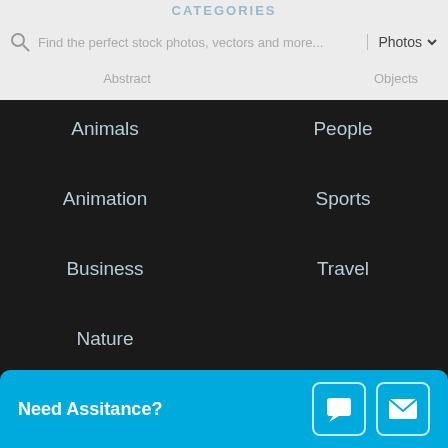CATEGORIES
Find the perfect stock photos, vectors and more...
Photos
Animals
Animation
Business
Nature
People
Sports
Travel
LINKS
Latest Images
Contact
Terms of Use
Become A Contributor
CONTACT US
Need Assitance?